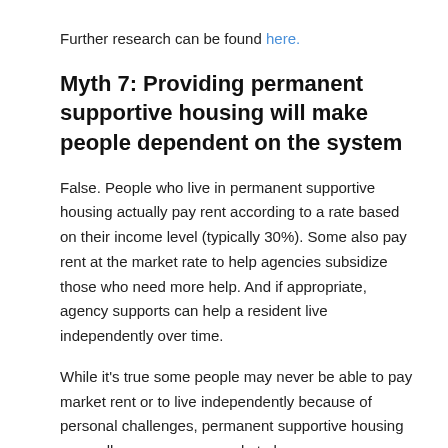Further research can be found here.
Myth 7: Providing permanent supportive housing will make people dependent on the system
False. People who live in permanent supportive housing actually pay rent according to a rate based on their income level (typically 30%). Some also pay rent at the market rate to help agencies subsidize those who need more help. And if appropriate, agency supports can help a resident live independently over time.
While it’s true some people may never be able to pay market rent or to live independently because of personal challenges, permanent supportive housing generally encourages people to become